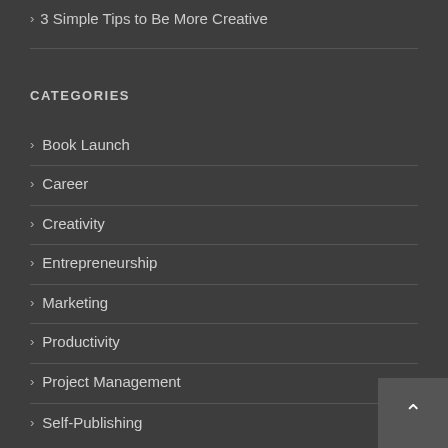3 Simple Tips to Be More Creative
CATEGORIES
Book Launch
Career
Creativity
Entrepreneurship
Marketing
Productivity
Project Management
Self-Publishing